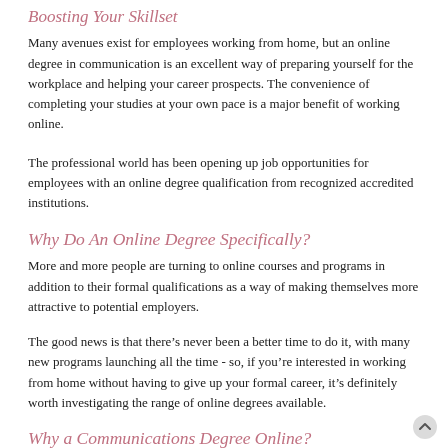Boosting Your Skillset
Many avenues exist for employees working from home, but an online degree in communication is an excellent way of preparing yourself for the workplace and helping your career prospects. The convenience of completing your studies at your own pace is a major benefit of working online.
The professional world has been opening up job opportunities for employees with an online degree qualification from recognized accredited institutions.
Why Do An Online Degree Specifically?
More and more people are turning to online courses and programs in addition to their formal qualifications as a way of making themselves more attractive to potential employers.
The good news is that there’s never been a better time to do it, with many new programs launching all the time - so, if you’re interested in working from home without having to give up your formal career, it’s definitely worth investigating the range of online degrees available.
Why a Communications Degree Online?
The benefits of doing an online degree, specifically in this field, are many. Communication is in great...